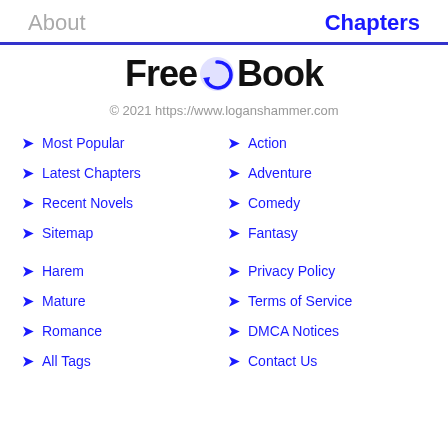About    Chapters
[Figure (logo): FreeG Book logo — stylized text with a circular blue arrow icon between 'Free' and 'Book']
© 2021 https://www.loganshammer.com
Most Popular
Action
Latest Chapters
Adventure
Recent Novels
Comedy
Sitemap
Fantasy
Harem
Privacy Policy
Mature
Terms of Service
Romance
DMCA Notices
All Tags
Contact Us